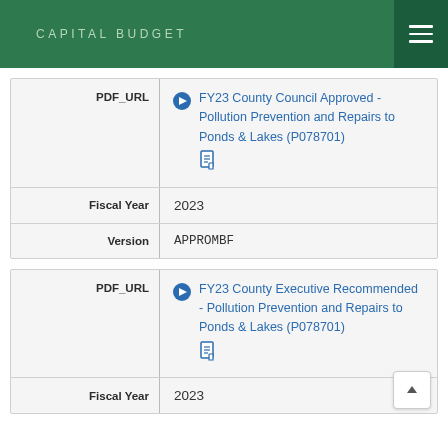CAPITAL BUDGET
| Field | Value |
| --- | --- |
| PDF_URL | FY23 County Council Approved - Pollution Prevention and Repairs to Ponds & Lakes (P078701) |
| Fiscal Year | 2023 |
| Version | APPROMBF |
| Field | Value |
| --- | --- |
| PDF_URL | FY23 County Executive Recommended - Pollution Prevention and Repairs to Ponds & Lakes (P078701) |
| Fiscal Year | 2023 |